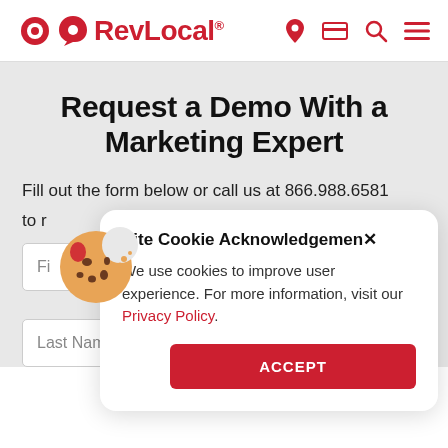RevLocal® [navigation icons: location, card, search, menu]
Request a Demo With a Marketing Expert
Fill out the form below or call us at 866.988.6581 to request a demo with one of our digital marketing experts today.
[Figure (other): Cookie acknowledgement modal popup with cookie emoji icon, title 'Site Cookie Acknowledgement', text about cookie usage, Privacy Policy link, and ACCEPT button]
First Name (form field)
Last Name (form field)